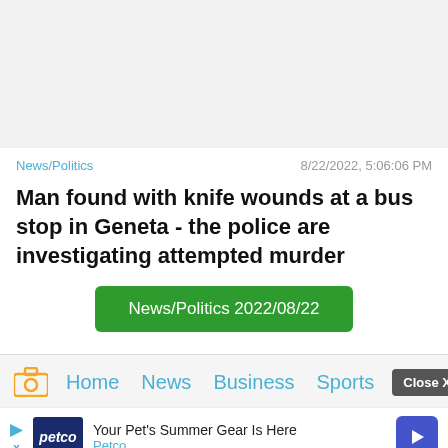[Figure (photo): Light gray placeholder image at the top of the article card]
News/Politics
8/22/2022, 5:06:06 PM
Man found with knife wounds at a bus stop in Geneta - the police are investigating attempted murder
News/Politics 2022/08/22
Home   News   Business   Sports
Close X
Your Pet's Summer Gear Is Here  Petco